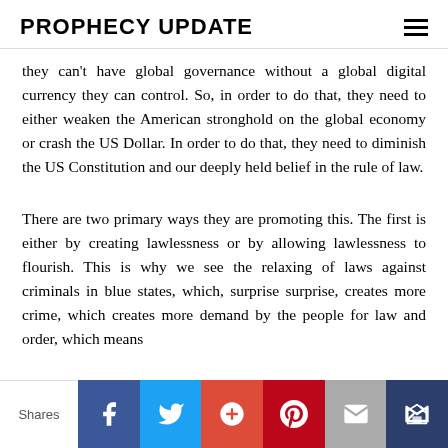PROPHECY UPDATE
they can't have global governance without a global digital currency they can control. So, in order to do that, they need to either weaken the American stronghold on the global economy or crash the US Dollar. In order to do that, they need to diminish the US Constitution and our deeply held belief in the rule of law.
There are two primary ways they are promoting this. The first is either by creating lawlessness or by allowing lawlessness to flourish. This is why we see the relaxing of laws against criminals in blue states, which, surprise surprise, creates more crime, which creates more demand by the people for law and order, which means